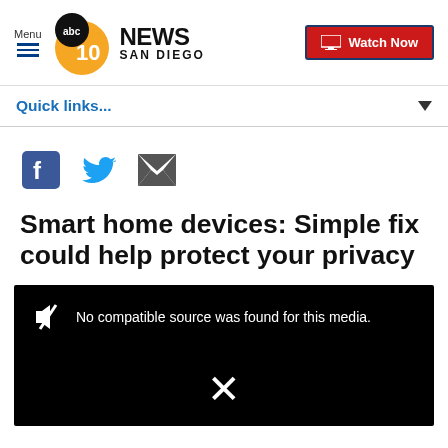Menu | abc 10 NEWS SAN DIEGO | Watch Now
Quick links...
[Figure (other): Social share icons: Facebook, Twitter, Email]
Smart home devices: Simple fix could help protect your privacy
[Figure (screenshot): Black video player with muted speaker icon and text: No compatible source was found for this media. An X symbol is shown at the bottom center.]